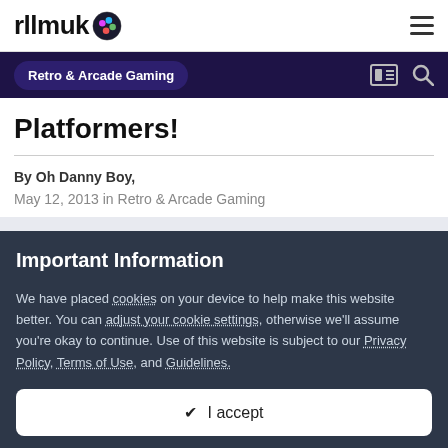rllmuk (logo with gaming controller icon) — hamburger menu
Retro & Arcade Gaming
Platformers!
By Oh Danny Boy,
May 12, 2013 in Retro & Arcade Gaming
Important Information
We have placed cookies on your device to help make this website better. You can adjust your cookie settings, otherwise we'll assume you're okay to continue. Use of this website is subject to our Privacy Policy, Terms of Use, and Guidelines.
✔ I accept